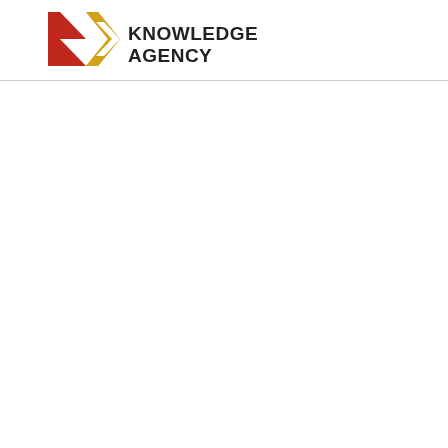[Figure (logo): Knowledge Agency logo with stylized K and arrow/chevron icon in red and yellow, followed by bold uppercase text KNOWLEDGE AGENCY in dark charcoal]